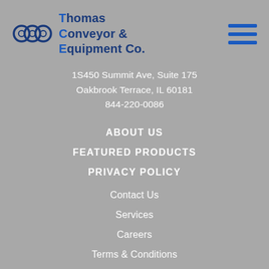[Figure (logo): Thomas Conveyor & Equipment Co. logo with circular gear-like icon and company name in blue text]
1S450 Summit Ave, Suite 175
Oakbrook Terrace, IL 60181
844-220-0086
ABOUT US
FEATURED PRODUCTS
PRIVACY POLICY
Contact Us
Services
Careers
Terms & Conditions
Video Library
Testimonials
Photo Gallery